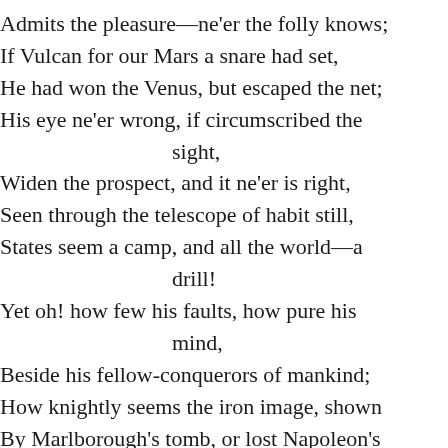Admits the pleasure—ne'er the folly knows;
If Vulcan for our Mars a snare had set,
He had won the Venus, but escaped the net;
His eye ne'er wrong, if circumscribed the sight,
Widen the prospect, and it ne'er is right,
Seen through the telescope of habit still,
States seem a camp, and all the world—a drill!
Yet oh! how few his faults, how pure his mind,
Beside his fellow-conquerors of mankind;
How knightly seems the iron image, shown
By Marlborough's tomb, or lost Napoleon's